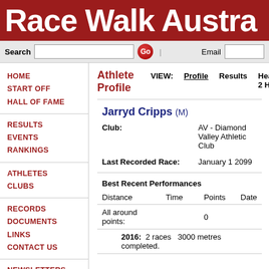Race Walk Austra
Search | Email
HOME
START OFF
HALL OF FAME
RESULTS
EVENTS
RANKINGS
ATHLETES
CLUBS
RECORDS
DOCUMENTS
LINKS
CONTACT US
NEWSLETTERS
Athlete Profile  VIEW:  Profile  Results  Head 2 He
Jarryd Cripps (M)
Club: AV - Diamond Valley Athletic Club
Last Recorded Race: January 1 2099
Best Recent Performances
| Distance | Time | Points | Date |
| --- | --- | --- | --- |
| All around points: |  | 0 |  |
2016: 2 races 3000 metres completed.